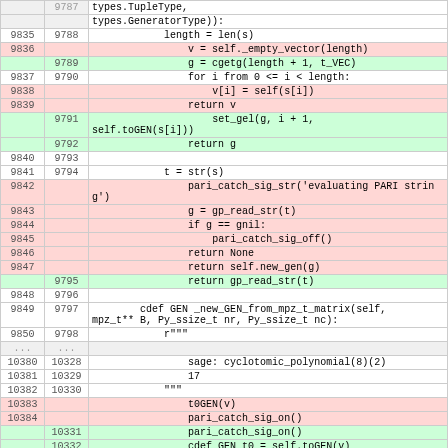| old | new | code |
| --- | --- | --- |
|  | 9787 | types.TupleType, |
|  |  | types.GeneratorType)): |
| 9835 | 9788 |             length = len(s) |
| 9836 |  |                 v = self._empty_vector(length) |
|  | 9789 |                 g = cgetg(length + 1, t_VEC) |
| 9837 | 9790 |                 for i from 0 <= i < length: |
| 9838 |  |                     v[i] = self(s[i]) |
| 9839 |  |                 return v |
|  | 9791 |                     set_gel(g, i + 1, self.toGEN(s[i])) |
|  | 9792 |                 return g |
| 9840 | 9793 |  |
| 9841 | 9794 |             t = str(s) |
| 9842 |  |                 pari_catch_sig_str('evaluating PARI string') |
| 9843 |  |                 g = gp_read_str(t) |
| 9844 |  |                 if g == gnil: |
| 9845 |  |                     pari_catch_sig_off() |
| 9846 |  |                 return None |
| 9847 |  |                 return self.new_gen(g) |
|  | 9795 |                 return gp_read_str(t) |
| 9848 | 9796 |  |
| 9849 | 9797 |         cdef GEN _new_GEN_from_mpz_t_matrix(self, mpz_t** B, Py_ssize_t nr, Py_ssize_t nc): |
| 9850 | 9798 |             r""" |
| ... | ... |  |
| 10380 | 10328 |                 sage: cyclotomic_polynomial(8)(2) |
| 10381 | 10329 |                 17 |
| 10382 | 10330 |             """ |
| 10383 |  |                 t0GEN(v) |
| 10384 |  |                 pari_catch_sig_on() |
|  | 10331 |                 pari_catch_sig_on() |
|  | 10332 |                 cdef GEN t0 = self.toGEN(v) |